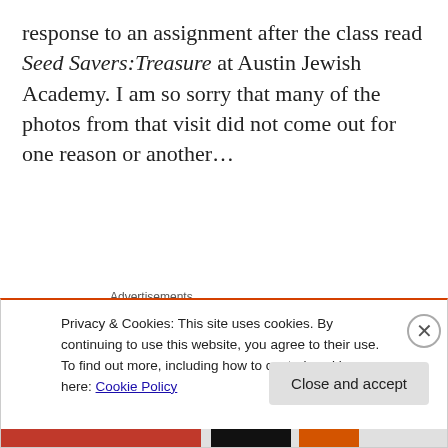response to an assignment after the class read Seed Savers:Treasure at Austin Jewish Academy. I am so sorry that many of the photos from that visit did not come out for one reason or another…
Advertisements
I met for the first time my biggest fan in Texas and had dinner with a friend I knew thirty years ago on a summer mission to Japan. My husband and I enjoyed an evening
Privacy & Cookies: This site uses cookies. By continuing to use this website, you agree to their use. To find out more, including how to control cookies, see here: Cookie Policy